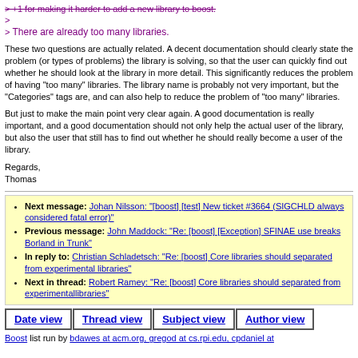> +1 for making it harder to add a new library to boost.
>
> There are already too many libraries.
These two questions are actually related. A decent documentation should clearly state the problem (or types of problems) the library is solving, so that the user can quickly find out whether he should look at the library in more detail. This significantly reduces the problem of having "too many" libraries. The library name is probably not very important, but the "Categories" tags are, and can also help to reduce the problem of "too many" libraries.
But just to make the main point very clear again. A good documentation is really important, and a good documentation should not only help the actual user of the library, but also the user that still has to find out whether he should really become a user of the library.
Regards,
Thomas
Next message: Johan Nilsson: "[boost] [test] New ticket #3664 (SIGCHLD always considered fatal error)"
Previous message: John Maddock: "Re: [boost] [Exception] SFINAE use breaks Borland in Trunk"
In reply to: Christian Schladetsch: "Re: [boost] Core libraries should separated from experimental libraries"
Next in thread: Robert Ramey: "Re: [boost] Core libraries should separated from experimentallibraries"
Date view | Thread view | Subject view | Author view
Boost list run by bdawes at acm.org, gregod at cs.rpi.edu, cpdaniel at